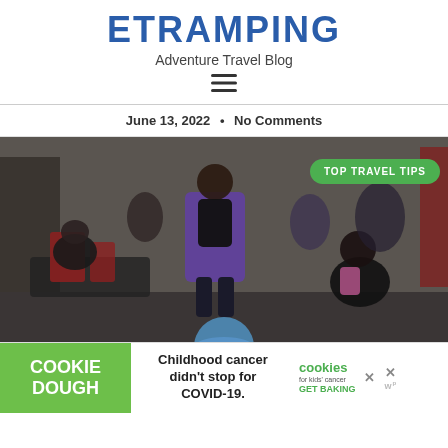ETRAMPING
Adventure Travel Blog
[Figure (other): Hamburger menu icon (three horizontal lines)]
June 13, 2022  •  No Comments
[Figure (photo): Crowd of travelers with luggage at a busy train station or airport. A person with a backpack stands in center. Green badge overlay reads TOP TRAVEL TIPS.]
[Figure (other): Advertisement banner: COOKIE DOUGH | Childhood cancer didn't stop for COVID-19. | cookies for kids' cancer GET BAKING]